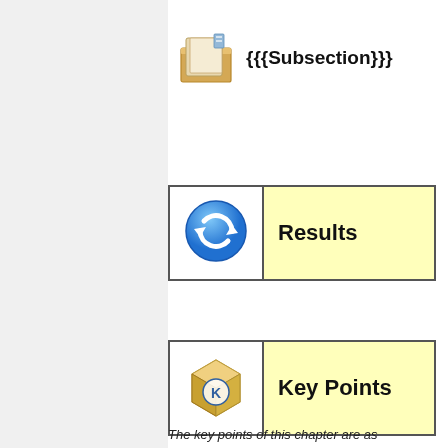[Figure (illustration): Open book/folder icon next to template text {{{Subsection}}}]
{{{Subsection}}}
[Figure (illustration): Blue circular refresh/sync icon in a bordered table cell with yellow Results label]
Results
[Figure (illustration): KDE box/package icon in a bordered table cell with yellow Key Points label]
Key Points
The key points of this chapter are as